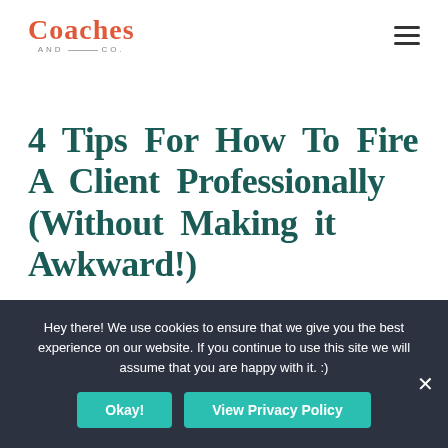[Figure (logo): Coaches and Co. logo in coral/red serif font with 'AND CO.' subtitle]
4 Tips For How To Fire A Client Professionally (Without Making it Awkward!)
Blog Business Content & copy...
Hey there! We use cookies to ensure that we give you the best experience on our website. If you continue to use this site we will assume that you are happy with it. :)